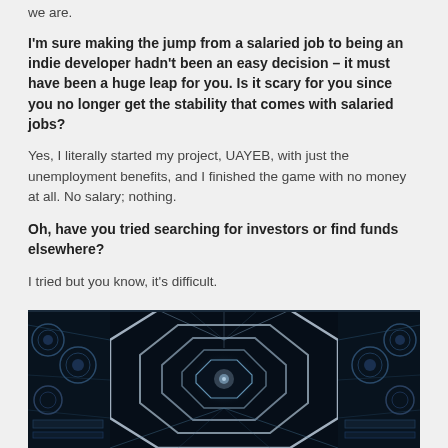we are.
I’m sure making the jump from a salaried job to being an indie developer hadn’t been an easy decision – it must have been a huge leap for you. Is it scary for you since you no longer get the stability that comes with salaried jobs?
Yes, I literally started my project, UAYEB, with just the unemployment benefits, and I finished the game with no money at all. No salary; nothing.
Oh, have you tried searching for investors or find funds elsewhere?
I tried but you know, it’s difficult.
[Figure (photo): Dark sci-fi interior corridor or chamber with octagonal/geometric architecture, glowing blue-white lights, complex mechanical structures on the sides, viewed from a low angle looking up or forward through the geometric frame toward a central glowing point.]